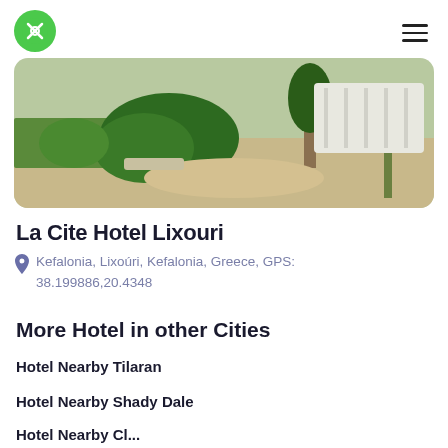[Figure (photo): Outdoor photo of La Cite Hotel Lixouri showing garden area with green shrubs, sandy ground, trees, and white fence in background]
La Cite Hotel Lixouri
Kefalonia, Lixoúri, Kefalonia, Greece, GPS: 38.199886,20.4348
More Hotel in other Cities
Hotel Nearby Tilaran
Hotel Nearby Shady Dale
Hotel Nearby Cl...